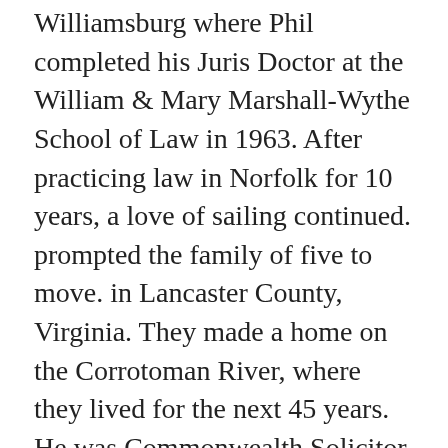Williamsburg where Phil completed his Juris Doctor at the William & Mary Marshall-Wythe School of Law in 1963. After practicing law in Norfolk for 10 years, a love of sailing continued. prompted the family of five to move. in Lancaster County, Virginia. They made a home on the Corrotoman River, where they lived for the next 45 years. He was Commonwealth Solicitor of Lancaster County for 8 years, continuing his private law practice for the remainder of his professional career. The family worshiped at Grace Episcopal Church in Kilmarnock, participating fully for 44 years. Phil served as chalice bearer and member of the vestry. He was a member of the Sons of the American Revolution and the Jamestown Society.
The family enjoyed their membership at Indian Creek Country Club where the blue waters of the Chesapeake Bay were five minutes away for a quick evening sail. Golf was also an end-of-life pleasure for both of them. Phil and